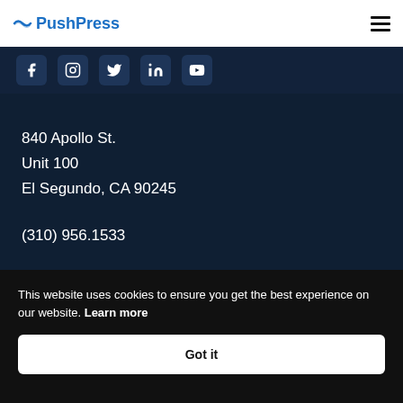PushPress
[Figure (screenshot): Social media icon buttons (Facebook, Instagram, Twitter/X, LinkedIn, YouTube) on dark navy background]
840 Apollo St.
Unit 100
El Segundo, CA 90245
(310) 956.1533
This website uses cookies to ensure you get the best experience on our website. Learn more
Got it